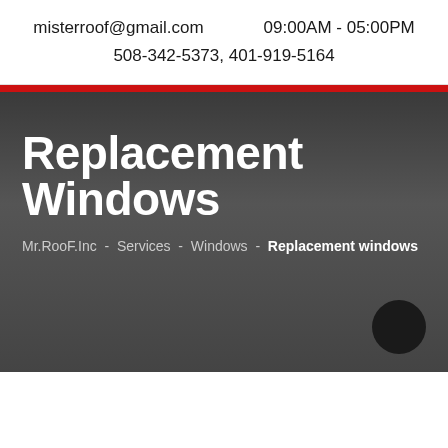misterroof@gmail.com    09:00AM - 05:00PM
508-342-5373,  401-919-5164
Replacement Windows
Mr.RooF.Inc  -  Services  -  Windows  -  Replacement windows